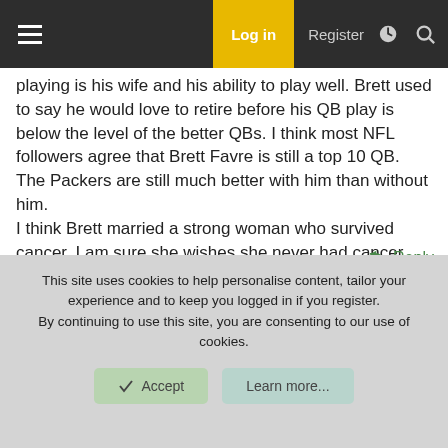Log in | Register
playing is his wife and his ability to play well. Brett used to say he would love to retire before his QB play is below the level of the better QBs. I think most NFL followers agree that Brett Favre is still a top 10 QB. The Packers are still much better with him than without him.
I think Brett married a strong woman who survived cancer. I am sure she wishes she never had cancer, but I think Deana loves the spotlight too. When Brett retires that spotlight will fade. I do somewhat admire Brett's wife. If she never married Brett Favre I would not even know who she is.
↩ Reply
This site uses cookies to help personalise content, tailor your experience and to keep you logged in if you register.
By continuing to use this site, you are consenting to our use of cookies.
Accept | Learn more...